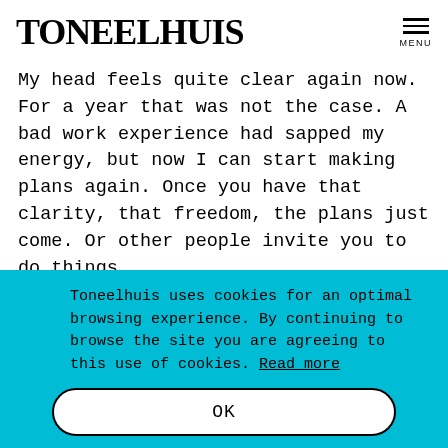TONEELHUIS | MENU
My head feels quite clear again now. For a year that was not the case. A bad work experience had sapped my energy, but now I can start making plans again. Once you have that clarity, that freedom, the plans just come. Or other people invite you to do things.
Toneelhuis uses cookies for an optimal browsing experience. By continuing to browse the site you are agreeing to this use of cookies. Read more
OK